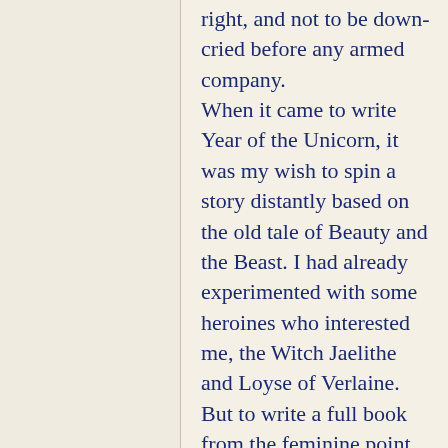right, and not to be down-cried before any armed company. When it came to write Year of the Unicorn, it was my wish to spin a story distantly based on the old tale of Beauty and the Beast. I had already experimented with some heroines who interested me, the Witch Jaelithe and Loyse of Verlaine. But to write a full book from the feminine point of view was a departure. I found it fascinating to write, but the